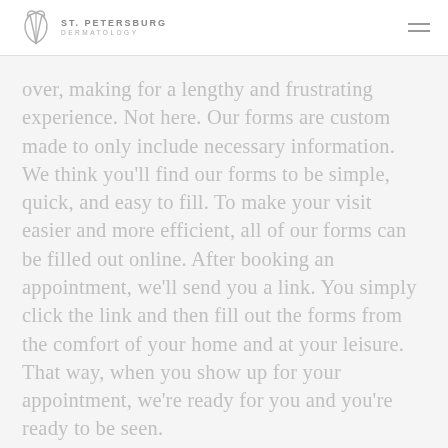ST. PETERSBURG DERMATOLOGY
over, making for a lengthy and frustrating experience. Not here. Our forms are custom made to only include necessary information. We think you’ll find our forms to be simple, quick, and easy to fill. To make your visit easier and more efficient, all of our forms can be filled out online. After booking an appointment, we’ll send you a link. You simply click the link and then fill out the forms from the comfort of your home and at your leisure. That way, when you show up for your appointment, we’re ready for you and you’re ready to be seen.